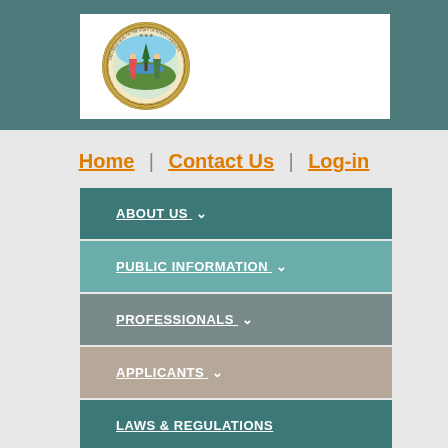[Figure (logo): North Carolina State Seal circular emblem]
Home | Contact Us | Log-in
ABOUT US
PUBLIC INFORMATION
PROFESSIONALS
APPLICANTS
LAWS & REGULATIONS
North Carolina Veterinary Medical Board